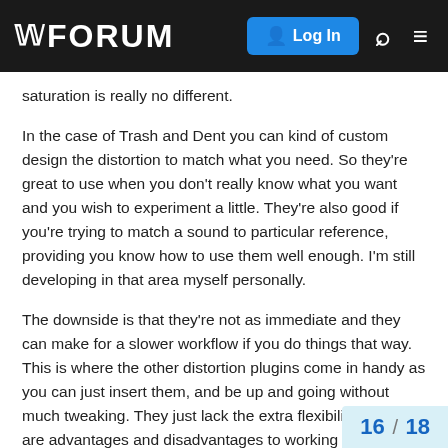WFORUM | Log In
saturation is really no different.
In the case of Trash and Dent you can kind of custom design the distortion to match what you need. So they're great to use when you don't really know what you want and you wish to experiment a little. They're also good if you're trying to match a sound to particular reference, providing you know how to use them well enough. I'm still developing in that area myself personally.
The downside is that they're not as immediate and they can make for a slower workflow if you do things that way. This is where the other distortion plugins come in handy as you can just insert them, and be up and going without much tweaking. They just lack the extra flexibility. So there are advantages and disadvantages to working both ways.
Personally, I try to keep things as simple as I can for as long as I can.
16 / 18